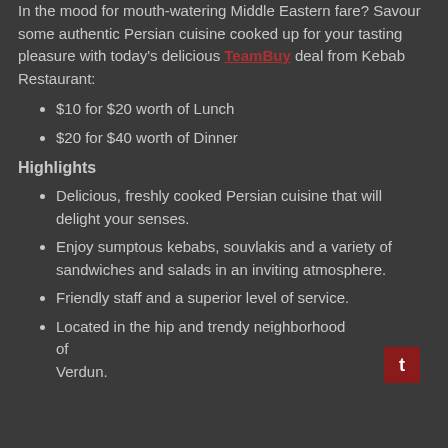In the mood for mouth-watering Middle Eastern fare? Savour some authentic Persian cuisine cooked up for your tasting pleasure with today's delicious TeamBuy deal from Kebab Restaurant:
$10 for $20 worth of Lunch
$20 for $40 worth of Dinner
Highlights
Delicious, freshly cooked Persian cuisine that will delight your senses.
Enjoy sumptous kebabs, souvlakis and a variety of sandwiches and salads in an inviting atmosphere.
Friendly staff and a superior level of service.
Located in the hip and trendy neighborhood of Verdun.